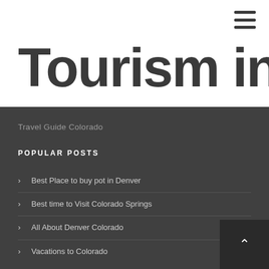≡ (hamburger menu icon)
Tourism in Co
Travel Guide Colorado
POPULAR POSTS
Best Place to buy pot in Denver
Best time to Visit Colorado Springs
All About Denver Colorado
Vacations to Colorado